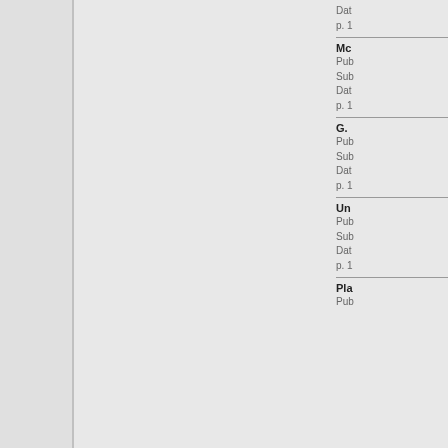Dat
p. 1
Mc
Pub
Sub
Dat
p. 1
G.
Pub
Sub
Dat
p. 1
Un
Pub
Sub
Dat
p. 1
Pla
Pub